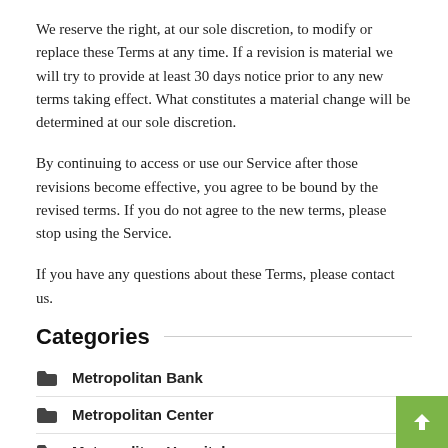We reserve the right, at our sole discretion, to modify or replace these Terms at any time. If a revision is material we will try to provide at least 30 days notice prior to any new terms taking effect. What constitutes a material change will be determined at our sole discretion.
By continuing to access or use our Service after those revisions become effective, you agree to be bound by the revised terms. If you do not agree to the new terms, please stop using the Service.
If you have any questions about these Terms, please contact us.
Categories
Metropolitan Bank
Metropolitan Center
Metropolitan Hospital